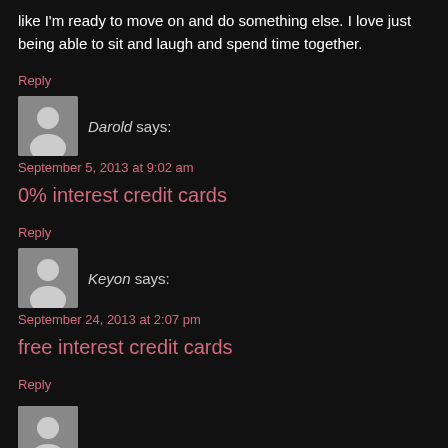like I'm ready to move on and do something else. I love just being able to sit and laugh and spend time together.
Reply
Darold says:
September 5, 2013 at 9:02 am
0% interest credit cards
Reply
Keyon says:
September 24, 2013 at 2:07 pm
free interest credit cards
Reply